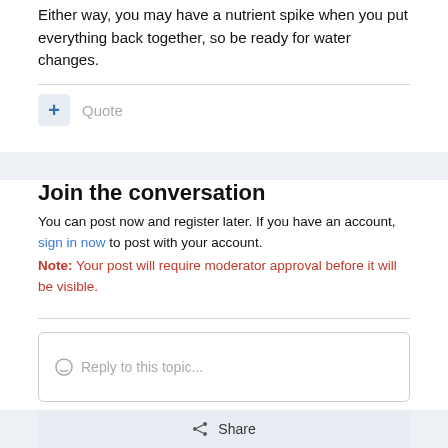Either way, you may have a nutrient spike when you put everything back together, so be ready for water changes.
+ Quote
Join the conversation
You can post now and register later. If you have an account, sign in now to post with your account. Note: Your post will require moderator approval before it will be visible.
Reply to this topic...
Share